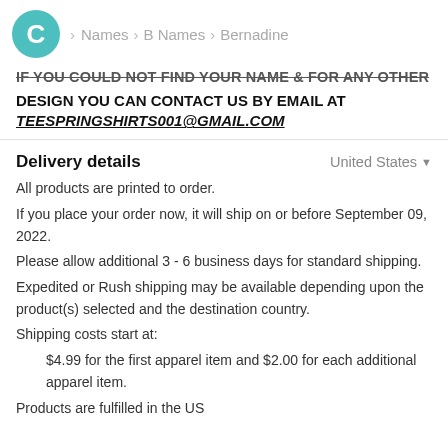C > Names > B Names > Bernadine
IF YOU COULD NOT FIND YOUR NAME & FOR ANY OTHER DESIGN YOU CAN CONTACT US BY EMAIL AT
TEESPRINGSHIRTS001@GMAIL.COM
Delivery details
United States
All products are printed to order.
If you place your order now, it will ship on or before September 09, 2022.
Please allow additional 3 - 6 business days for standard shipping.
Expedited or Rush shipping may be available depending upon the product(s) selected and the destination country.
Shipping costs start at:
$4.99 for the first apparel item and $2.00 for each additional apparel item.
Products are fulfilled in the US